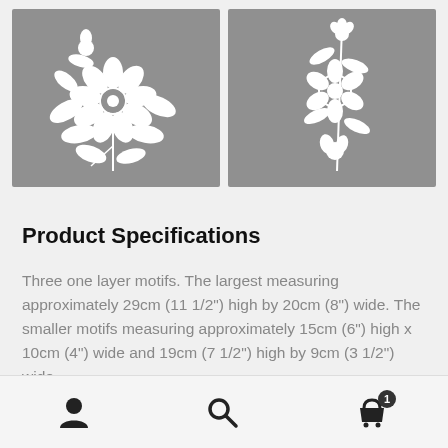[Figure (illustration): Two side-by-side grey panels showing white floral/rose stencil motifs on grey backgrounds. Left panel shows a large rose bouquet motif; right panel shows a taller sprig/branch floral motif.]
Product Specifications
Three one layer motifs. The largest measuring approximately 29cm (11 1/2") high by 20cm (8") wide. The smaller motifs measuring approximately 15cm (6") high x 10cm (4") wide and 19cm (7 1/2") high by 9cm (3 1/2") wide.
[Figure (infographic): Bottom navigation bar with three icons: user/account icon (left), search magnifying glass icon (center), shopping cart icon with badge showing '1' (right).]